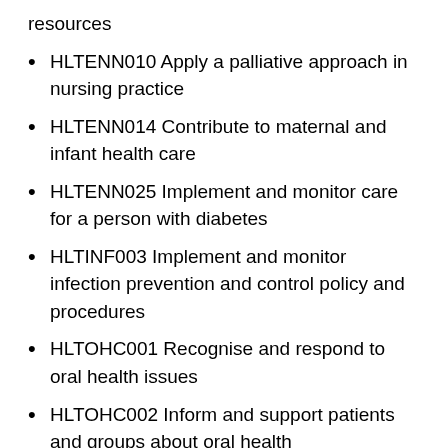resources
HLTENN010 Apply a palliative approach in nursing practice
HLTENN014 Contribute to maternal and infant health care
HLTENN025 Implement and monitor care for a person with diabetes
HLTINF003 Implement and monitor infection prevention and control policy and procedures
HLTOHC001 Recognise and respond to oral health issues
HLTOHC002 Inform and support patients and groups about oral health
HLTOHC003 Apply and manage use of basic